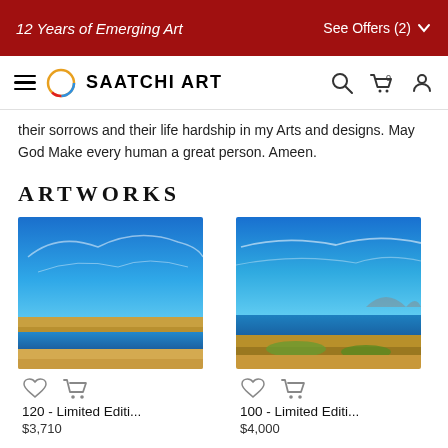12 Years of Emerging Art | See Offers (2)
SAATCHI ART
their sorrows and their life hardship in my Arts and designs. May God Make every human a great person. Ameen.
ARTWORKS
[Figure (photo): Landscape photo with blue sky and water, sandy shore in foreground. Artwork: 120 - Limited Editi...]
120 - Limited Editi...
$3,710
[Figure (photo): Landscape photo with blue sky and coastline, mountains in background. Artwork: 100 - Limited Editi...]
100 - Limited Editi...
$4,000